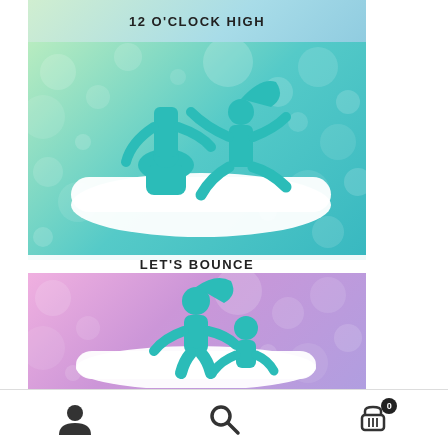12 O'CLOCK HIGH
[Figure (illustration): Teal silhouette illustration of two figures on a white wedge pillow, woman on top facing away, man seated. Colorful bubble-patterned background (green/teal gradient).]
LET'S BOUNCE
[Figure (illustration): Teal silhouette illustration of two figures on a white wedge pillow in an intimate position. Colorful bubble-patterned background (pink/purple gradient).]
[Figure (infographic): Mobile app bottom navigation bar with user/profile icon, search/magnifying glass icon, and shopping cart icon with badge showing '0'.]